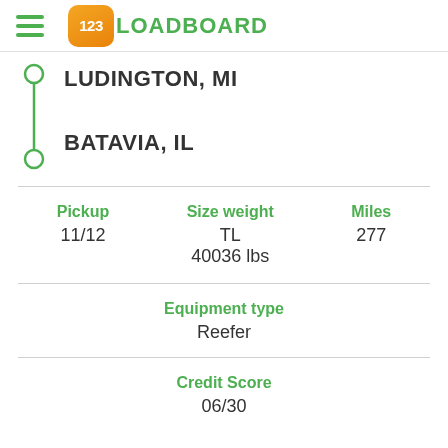123LOADBOARD
LUDINGTON, MI
BATAVIA, IL
Pickup: 11/12 | Size weight: TL 40036 lbs | Miles: 277
Equipment type: Reefer
Credit Score: 06/30